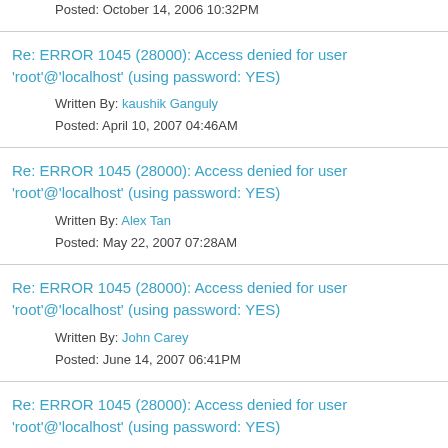Posted: October 14, 2006 10:32PM
Re: ERROR 1045 (28000): Access denied for user 'root'@'localhost' (using password: YES)
Written By: kaushik Ganguly
Posted: April 10, 2007 04:46AM
Re: ERROR 1045 (28000): Access denied for user 'root'@'localhost' (using password: YES)
Written By: Alex Tan
Posted: May 22, 2007 07:28AM
Re: ERROR 1045 (28000): Access denied for user 'root'@'localhost' (using password: YES)
Written By: John Carey
Posted: June 14, 2007 06:41PM
Re: ERROR 1045 (28000): Access denied for user 'root'@'localhost' (using password: YES)
Written By: Sher Shah
Posted: January 14, 2011 07:26AM